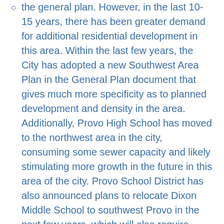the general plan. However, in the last 10-15 years, there has been greater demand for additional residential development in this area. Within the last few years, the City has adopted a new Southwest Area Plan in the General Plan document that gives much more specificity as to planned development and density in the area. Additionally, Provo High School has moved to the northwest area in the city, consuming some sewer capacity and likely stimulating more growth in the future in this area of the city. Provo School District has also announced plans to relocate Dixon Middle School to southwest Provo in the next few years, which will also require added sewer capacity in this part of Provo.
With a number of forces at work, many land owners and developers in the area have argued that additional sewer capacity on the west side has become more critical and